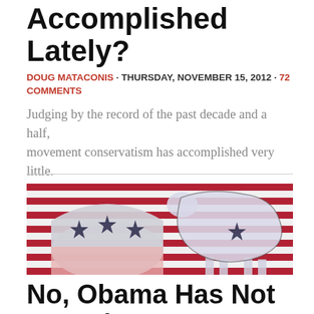Accomplished Lately?
DOUG MATACONIS · THURSDAY, NOVEMBER 15, 2012 · 72 COMMENTS
Judging by the record of the past decade and a half, movement conservatism has accomplished very little.
[Figure (photo): Republican elephant and Democratic donkey symbols overlaid on an American flag background]
No, Obama Has Not Issued 900 Executive...